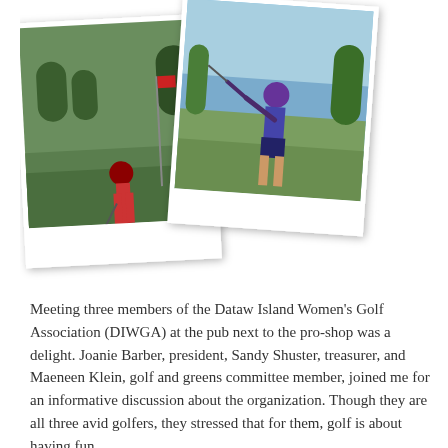[Figure (photo): Two photographs of women golfers. Left photo shows a woman putting near a flag on a green; right photo shows a woman mid-swing on a golf course near water.]
Meeting three members of the Dataw Island Women's Golf Association (DIWGA) at the pub next to the pro-shop was a delight. Joanie Barber, president, Sandy Shuster, treasurer, and Maeneen Klein, golf and greens committee member, joined me for an informative discussion about the organization. Though they are all three avid golfers, they stressed that for them, golf is about having fun.
The DIWGA, as it is known, has about 200 members. They play on Thursdays, Ladies Day at the two courses, Cotton Dike and Morgan River, and many other days of the week, as well. There are 12 tournaments in the year, and many special events, such as the hosting of collegiate women's golf tournament the first weekend in March. Some of their members are serious, competitive golfers and travel around in the Coastal Carolina Ladies League, playing courses from